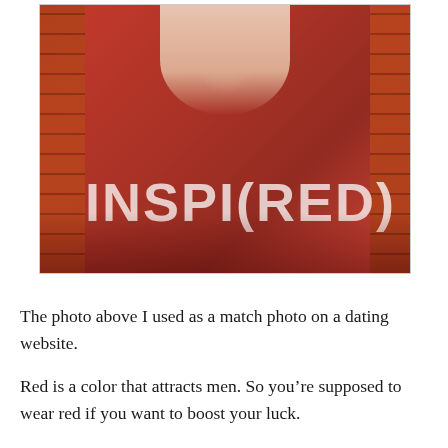[Figure (photo): A woman wearing a red v-neck t-shirt with the text 'INSPI(RED)' printed on it in light pink/white letters. She has a brown leather bag strap across her chest. The background is a brick wall. The photo is cropped to show the torso and lower face/neck area only.]
The photo above I used as a match photo on a dating website.
Red is a color that attracts men. So you're supposed to wear red if you want to boost your luck.